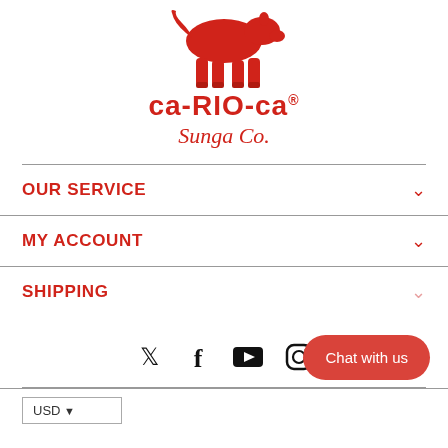[Figure (logo): CA-RIO-CA Sunga Co. logo with red bull/animal silhouette above the brand name]
OUR SERVICE
MY ACCOUNT
SHIPPING
[Figure (infographic): Social media icons row: Twitter, Facebook, YouTube, Instagram, plus a red Chat with us button]
USD